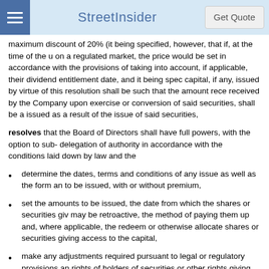StreetInsider | Get Quote
maximum discount of 20% (it being specified, however, that if, at the time of the u on a regulated market, the price would be set in accordance with the provisions of taking into account, if applicable, their dividend entitlement date, and it being spec capital, if any, issued by virtue of this resolution shall be such that the amount rece received by the Company upon exercise or conversion of said securities, shall be a issued as a result of the issue of said securities,
resolves that the Board of Directors shall have full powers, with the option to sub-delegation of authority in accordance with the conditions laid down by law and the
determine the dates, terms and conditions of any issue as well as the form an to be issued, with or without premium,
set the amounts to be issued, the date from which the shares or securities giv may be retroactive, the method of paying them up and, where applicable, the redeem or otherwise allocate shares or securities giving access to the capital,
make any adjustments required pursuant to legal or regulatory provisions an rights of holders of securities or other rights giving access to the Company's
suspend, where applicable, the exercise of the rights attached to such securit
resolves that the Board of Directors may: